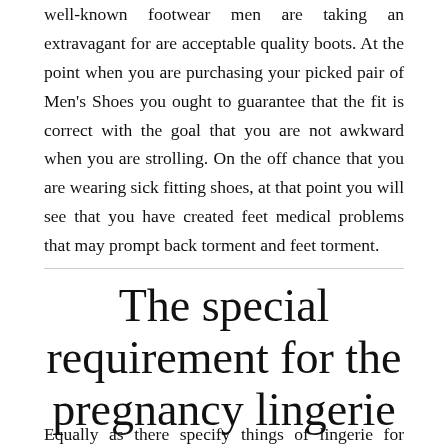well-known footwear men are taking an extravagant for are acceptable quality boots. At the point when you are purchasing your picked pair of Men's Shoes you ought to guarantee that the fit is correct with the goal that you are not awkward when you are strolling. On the off chance that you are wearing sick fitting shoes, at that point you will see that you have created feet medical problems that may prompt back torment and feet torment.
The special requirement for the pregnancy lingerie
Equally as there specify things of lingerie for different